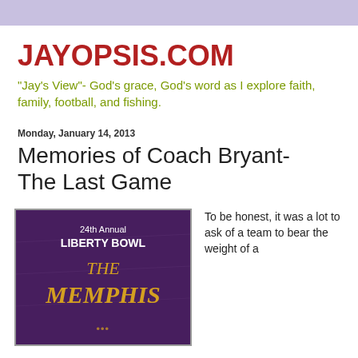JAYOPSIS.COM
"Jay's View"- God's grace, God's word as I explore faith, family, football, and fishing.
Monday, January 14, 2013
Memories of Coach Bryant- The Last Game
[Figure (photo): Cover of 24th Annual Liberty Bowl program showing 'THE MEMPHIS' text in gold lettering on a dark purple background]
To be honest, it was a lot to ask of a team to bear the weight of a